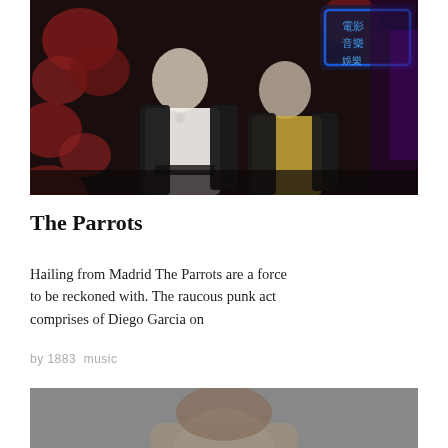[Figure (photo): Two young men posing in a dark room with red Chinese lanterns and neon signs in the background. One wears a white top and black leather jacket, the other a yellow shirt and black leather jacket.]
The Parrots
Hailing from Madrid The Parrots are a force to be reckoned with. The raucous punk act comprises of Diego Garcia on
by 1883  music
[Figure (photo): Partial photo of a person from shoulders up, showing light brown hair, against a grey background.]